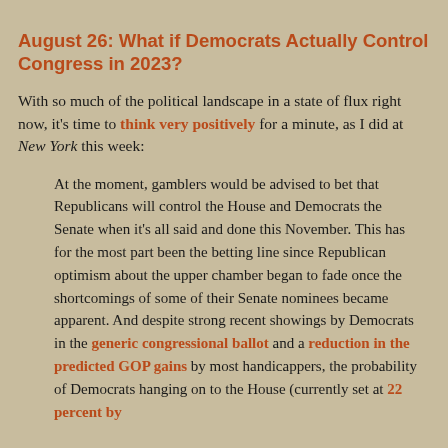August 26: What if Democrats Actually Control Congress in 2023?
With so much of the political landscape in a state of flux right now, it's time to think very positively for a minute, as I did at New York this week:
At the moment, gamblers would be advised to bet that Republicans will control the House and Democrats the Senate when it's all said and done this November. This has for the most part been the betting line since Republican optimism about the upper chamber began to fade once the shortcomings of some of their Senate nominees became apparent. And despite strong recent showings by Democrats in the generic congressional ballot and a reduction in the predicted GOP gains by most handicappers, the probability of Democrats hanging on to the House (currently set at 22 percent by